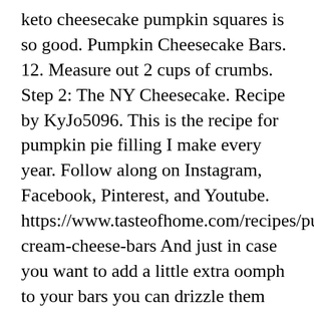keto cheesecake pumpkin squares is so good. Pumpkin Cheesecake Bars. 12. Measure out 2 cups of crumbs. Step 2: The NY Cheesecake. Recipe by KyJo5096. This is the recipe for pumpkin pie filling I make every year. Follow along on Instagram, Facebook, Pinterest, and Youtube. https://www.tasteofhome.com/recipes/pumpkin-cream-cheese-bars And just in case you want to add a little extra oomph to your bars you can drizzle them with this Keto Caramel Sauce! Serve cold. For filling: Using an electric mixture on medium speed, beat together cream cheese and sugar until ... Bake the bars for 35 minutes or until the center is mostly set. These rich, low carb cheesecake bars contain a